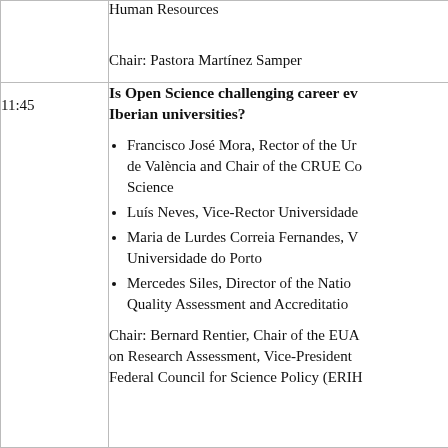Human Resources
Chair: Pastora Martínez Samper
11:45
Is Open Science challenging career ev... Iberian universities?
Francisco José Mora, Rector of the Ur... de València and Chair of the CRUE Co... Science
Luís Neves, Vice-Rector Universidade...
Maria de Lurdes Correia Fernandes, V... Universidade do Porto
Mercedes Siles, Director of the Natio... Quality Assessment and Accreditatio...
Chair: Bernard Rentier, Chair of the EUA... on Research Assessment, Vice-President... Federal Council for Science Policy (ERIH...